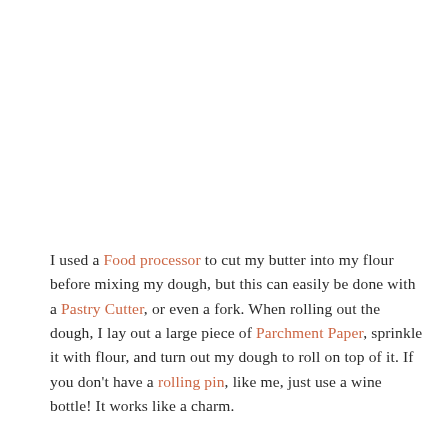I used a Food processor to cut my butter into my flour before mixing my dough, but this can easily be done with a Pastry Cutter, or even a fork. When rolling out the dough, I lay out a large piece of Parchment Paper, sprinkle it with flour, and turn out my dough to roll on top of it. If you don't have a rolling pin, like me, just use a wine bottle! It works like a charm.
[Figure (photo): A flattened disc of pale yellow pie dough rolled out on parchment paper dusted with white flour, viewed from above.]